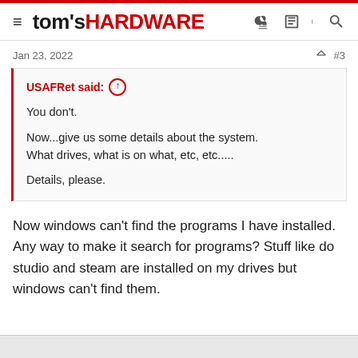tom's HARDWARE
Jan 23, 2022   #3
USAFRet said:
You don't.

Now...give us some details about the system.
What drives, what is on what, etc, etc.....

Details, please.
Now windows can't find the programs I have installed. Any way to make it search for programs? Stuff like do studio and steam are installed on my drives but windows can't find them.